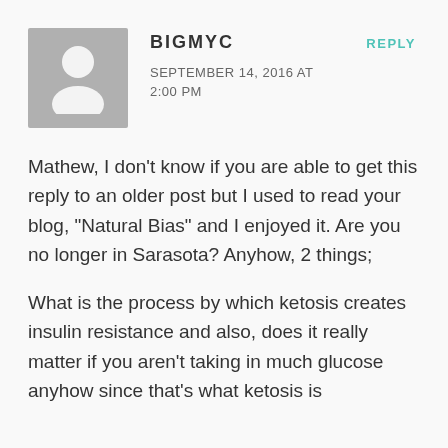[Figure (illustration): Default user avatar — grey square with white silhouette of a person]
BIGMYC
SEPTEMBER 14, 2016 AT 2:00 PM
REPLY
Mathew, I don't know if you are able to get this reply to an older post but I used to read your blog, “Natural Bias” and I enjoyed it. Are you no longer in Sarasota? Anyhow, 2 things;
What is the process by which ketosis creates insulin resistance and also, does it really matter if you aren’t taking in much glucose anyhow since that’s what ketosis is